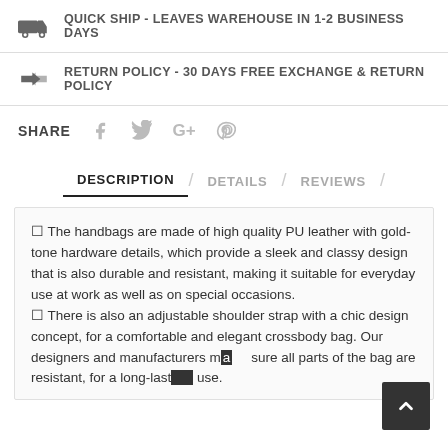QUICK SHIP - LEAVES WAREHOUSE IN 1-2 BUSINESS DAYS
RETURN POLICY - 30 DAYS FREE EXCHANGE & RETURN POLICY
SHARE
DESCRIPTION / DETAILS / REVIEWS
☐ The handbags are made of high quality PU leather with gold-tone hardware details, which provide a sleek and classy design that is also durable and resistant, making it suitable for everyday use at work as well as on special occasions.
☐ There is also an adjustable shoulder strap with a chic design concept, for a comfortable and elegant crossbody bag. Our designers and manufacturers made sure all parts of the bag are resistant, for a long-lasting use.